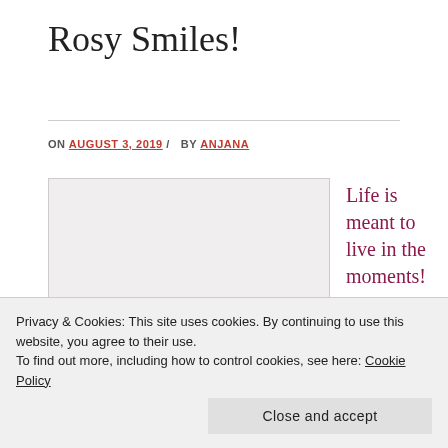Rosy Smiles!
ON AUGUST 3, 2019 / BY ANJANA
[Figure (photo): Handwritten 'To Do:' on a piece of paper with an underline, partially visible]
Life is meant to live in the moments!
Privacy & Cookies: This site uses cookies. By continuing to use this website, you agree to their use.
To find out more, including how to control cookies, see here: Cookie Policy
Close and accept